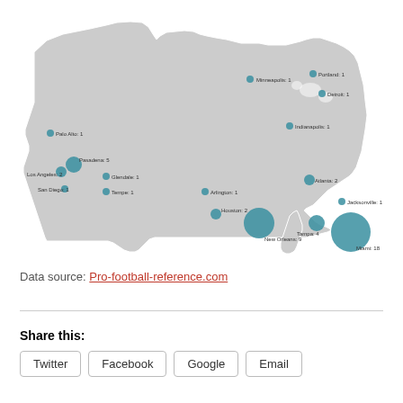[Figure (map): Bubble map of the United States showing Super Bowl host cities with bubble sizes proportional to number of times hosted. Cities labeled: Minneapolis: 1, Portland: 1, Detroit: 1, Palo Alto: 1, Indianapolis: 1, Pasadena: 5, Los Angeles: 2, Glendale: 1, San Diego: 1, Tempe: 1, Arlington: 1, Atlanta: 2, Houston: 2, Jacksonville: 1, New Orleans: 9, Tampa: 4, Miami: 18]
Data source: Pro-football-reference.com
Share this: